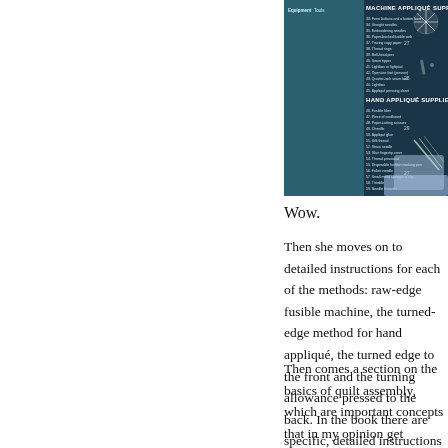[Figure (photo): A dark-background poster or book spread showing 'Machine Appliqué Supplies' and 'Hand Appliqué Supplies' lists with numbered items and small tool/accessory photographs on the right side.]
Wow.
Then she moves on to detailed instructions for each of the methods: raw-edge fusible machine appliqué, the turned-edge method for hand appliqué, the turned edge brought to the front and the turning allowance pressed to the back. In the book there are specific, detailed photos of the techniques Annie's talking about.
Then comes a section on the basics of quilt assembly, which are important concepts that in my opinion get overlooked. A beautiful gallery of quilts follows, and you can check out an earlier blog post of mine that features the book and its accompanying quilt, both of whic